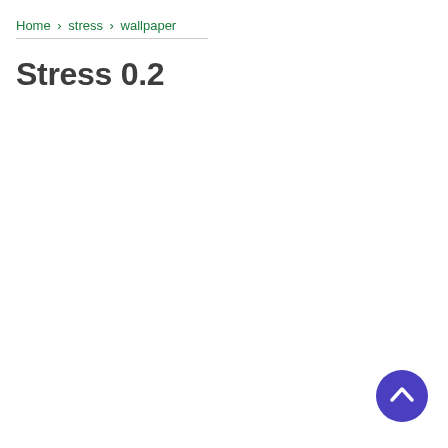Home › stress › wallpaper
Stress 0.2